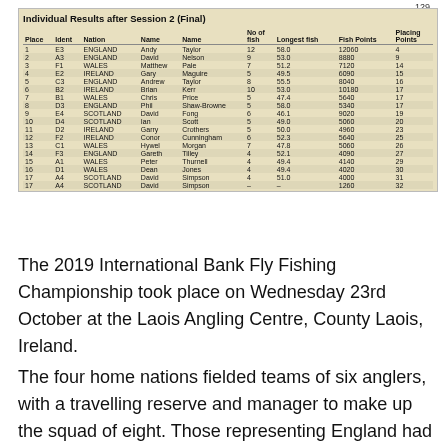129
Individual Results after Session 2 (Final)
| Place | Ident | Nation | Name | Name | No of fish | Longest fish | Fish Points | Placing Points |
| --- | --- | --- | --- | --- | --- | --- | --- | --- |
| 1 | E3 | ENGLAND | Andy | Taylor | 12 | 58.0 | 12060 | 4 |
| 2 | A3 | ENGLAND | David | Nelson | 9 | 53.0 | 8880 | 9 |
| 3 | F1 | WALES | Matthew | Pale | 7 | 51.2 | 7120 | 14 |
| 4 | E2 | IRELAND | Gary | Maguire | 5 | 49.5 | 6090 | 15 |
| 5 | C3 | ENGLAND | Andrew | Taylor | 8 | 55.5 | 8040 | 16 |
| 6 | B2 | IRELAND | Brian | Kerr | 10 | 53.0 | 10180 | 17 |
| 7 | B1 | WALES | Chris | Price | 5 | 47.4 | 5640 | 17 |
| 8 | D3 | ENGLAND | Phil | Shaw-Browne | 5 | 58.0 | 5340 | 17 |
| 9 | E4 | SCOTLAND | David | Fong | 6 | 46.1 | 9020 | 19 |
| 10 | D4 | SCOTLAND | Ian | Scott | 5 | 49.0 | 5060 | 20 |
| 11 | D2 | IRELAND | Garry | Crothers | 5 | 50.0 | 4960 | 23 |
| 12 | F2 | IRELAND | Conor | Cunningham | 6 | 52.3 | 5640 | 25 |
| 13 | C1 | WALES | Hywel | Morgan | 7 | 47.8 | 5060 | 26 |
| 14 | F3 | ENGLAND | Gareth | Tilley | 4 | 52.1 | 4090 | 27 |
| 15 | A1 | WALES | Peter | Thurnell | 4 | 49.4 | 4140 | 29 |
| 16 | D1 | WALES | Dean | Jones | 4 | 49.4 | 4020 | 30 |
| 17 | A4 | SCOTLAND | David | Simpson | 4 | 51.0 | 4000 | 31 |
| 17 | A4 | SCOTLAND | David | Simpson | – | – | 1260 | 32 |
The 2019 International Bank Fly Fishing Championship took place on Wednesday 23rd October at the Laois Angling Centre, County Laois, Ireland.
The four home nations fielded teams of six anglers, with a travelling reserve and manager to make up the squad of eight. Those representing England had come through the